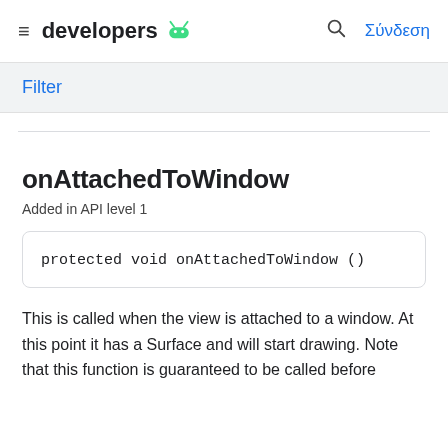≡ developers 🤖  🔍 Σύνδεση
Filter
onAttachedToWindow
Added in API level 1
protected void onAttachedToWindow ()
This is called when the view is attached to a window. At this point it has a Surface and will start drawing. Note that this function is guaranteed to be called before